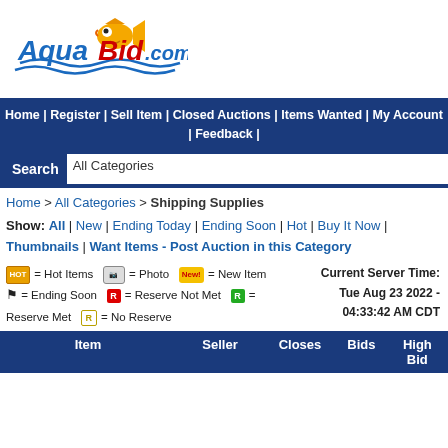[Figure (logo): AquaBid.com logo with cartoon fish character]
Home | Register | Sell Item | Closed Auctions | Items Wanted | My Account | Feedback |
Search  All Categories
Home > All Categories > Shipping Supplies
Show: All | New | Ending Today | Ending Soon | Hot | Buy It Now | Thumbnails | Want Items - Post Auction in this Category
🔥 = Hot Items  📷 = Photo  New! = New Item  Current Server Time: Tue Aug 23 2022 - 04:33:42 AM CDT  🏁 = Ending Soon  R = Reserve Not Met  R = Reserve Met  R = No Reserve
| Item | Seller | Closes | Bids | High Bid |
| --- | --- | --- | --- | --- |